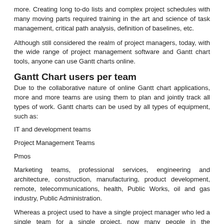more. Creating long to-do lists and complex project schedules with many moving parts required training in the art and science of task management, critical path analysis, definition of baselines, etc.
Although still considered the realm of project managers, today, with the wide range of project management software and Gantt chart tools, anyone can use Gantt charts online.
Gantt Chart users per team
Due to the collaborative nature of online Gantt chart applications, more and more teams are using them to plan and jointly track all types of work. Gantt charts can be used by all types of equipment, such as:
IT and development teams
Project Management Teams
Pmos
Marketing teams, professional services, engineering and architecture, construction, manufacturing, product development, remote, telecommunications, health, Public Works, oil and gas industry, Public Administration.
Whereas a project used to have a single project manager who led a single team for a single project, now many people in the organization manage projects with multiple teams of people. And many of those people work on projects under different project managers.